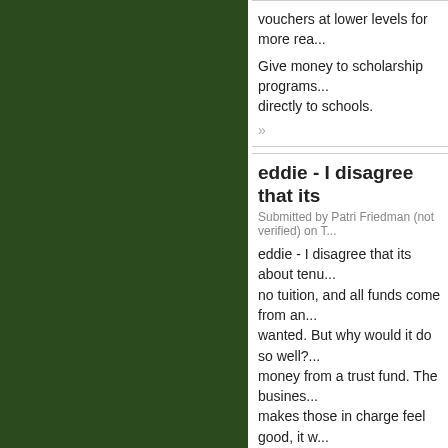vouchers at lower levels for more rea...
Give money to scholarship programs... directly to schools.
»
eddie - I disagree that its
Submitted by Patri Friedman (not verified) on T...
eddie - I disagree that its about tenu... no tuition, and all funds come from an... wanted. But why would it do so well?... money from a trust fund. The busines... makes those in charge feel good, it w... and is vastly less likely, to improve its... that product?
Competition would compell the Unive... attracted and retained students, and ... resources.
What competition? If the university is... competing for students. It is in the bu...
Would the quality of, say, Dell's produ... octogenarian left them $100 million in...